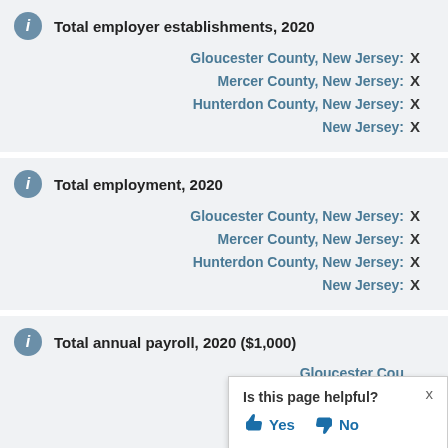Total employer establishments, 2020
| Geography | Value |
| --- | --- |
| Gloucester County, New Jersey: | X |
| Mercer County, New Jersey: | X |
| Hunterdon County, New Jersey: | X |
| New Jersey: | X |
Total employment, 2020
| Geography | Value |
| --- | --- |
| Gloucester County, New Jersey: | X |
| Mercer County, New Jersey: | X |
| Hunterdon County, New Jersey: | X |
| New Jersey: | X |
Total annual payroll, 2020 ($1,000)
| Geography | Value |
| --- | --- |
| Gloucester County, New Jersey: | X |
| Mercer County, New Jersey: | X |
Is this page helpful? Yes No